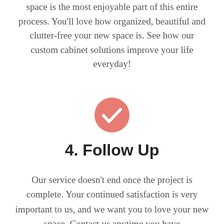space is the most enjoyable part of this entire process. You'll love how organized, beautiful and clutter-free your new space is. See how our custom cabinet solutions improve your life everyday!
[Figure (illustration): A pink/salmon-colored circle with a white checkmark inside, serving as a step icon.]
4. Follow Up
Our service doesn't end once the project is complete. Your continued satisfaction is very important to us, and we want you to love your new space. Contact us anytime you have